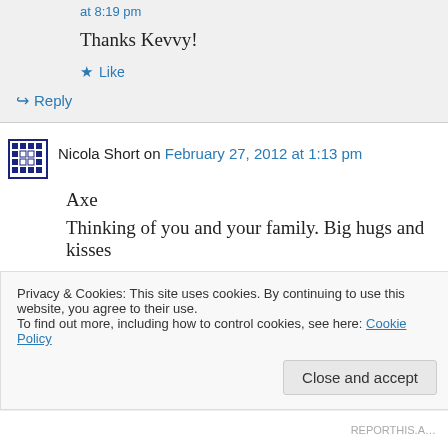at 8:19 pm
Thanks Kevvy!
★ Like
↳ Reply
Nicola Short on February 27, 2012 at 1:13 pm
Axe
Thinking of you and your family. Big hugs and kisses
Privacy & Cookies: This site uses cookies. By continuing to use this website, you agree to their use.
To find out more, including how to control cookies, see here: Cookie Policy
Close and accept